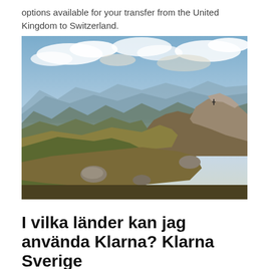options available for your transfer from the United Kingdom to Switzerland.
[Figure (photo): Landscape photograph of mountain peaks with rocky ridges, green and brown alpine terrain, scattered boulders, and a dramatic cloudy sky with blue tones in the distant mountain ranges.]
I vilka länder kan jag använda Klarna? Klarna Sverige